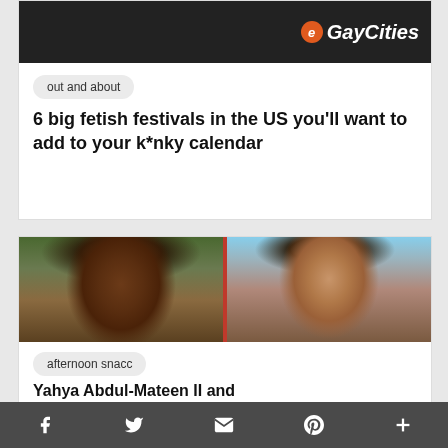[Figure (photo): GayCities logo on dark background banner image]
out and about
6 big fetish festivals in the US you'll want to add to your k*nky calendar
[Figure (photo): Two men's faces side by side split by a red vertical divider - left man is Black with dreadlocks, right man is Latino/Hispanic with curly hair and earpiece]
afternoon snacc
Yahya Abdul-Mateen II and
f  Twitter  envelope  p  +